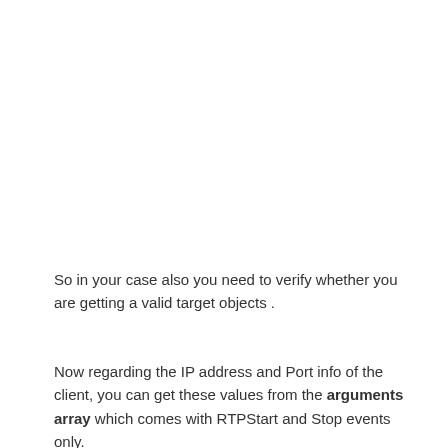So in your case also you need to verify whether you are getting a valid target objects .
Now regarding the IP address and Port info of the client, you can get these values from the arguments array which comes with RTPStart and Stop events only.